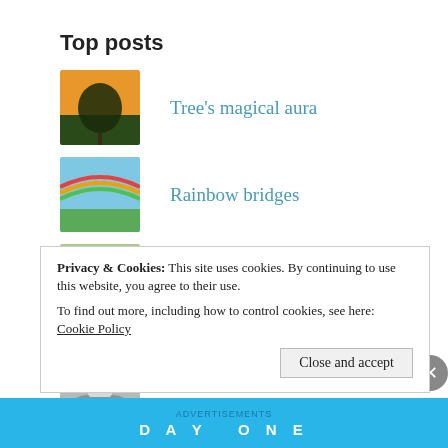Top posts
Tree's magical aura
Rainbow bridges
Calling the Mother
Spiritual standstill
Everlasting spiritual essence
Privacy & Cookies: This site uses cookies. By continuing to use this website, you agree to their use.
To find out more, including how to control cookies, see here: Cookie Policy
Advertisements
DAY ONE